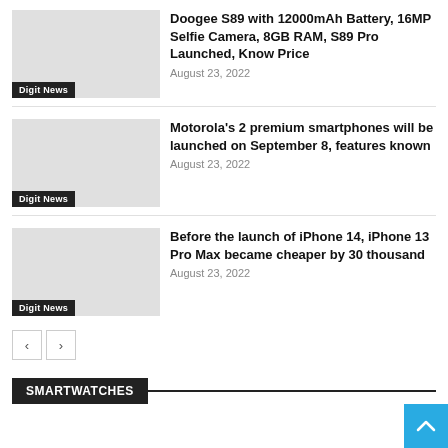Doogee S89 with 12000mAh Battery, 16MP Selfie Camera, 8GB RAM, S89 Pro Launched, Know Price
August 23, 2022
Digit News
Motorola's 2 premium smartphones will be launched on September 8, features known
August 23, 2022
Digit News
Before the launch of iPhone 14, iPhone 13 Pro Max became cheaper by 30 thousand
August 23, 2022
Digit News
SMARTWATCHES